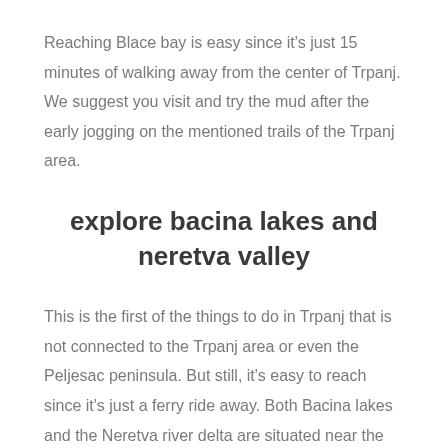Reaching Blace bay is easy since it's just 15 minutes of walking away from the center of Trpanj. We suggest you visit and try the mud after the early jogging on the mentioned trails of the Trpanj area.
explore bacina lakes and neretva valley
This is the first of the things to do in Trpanj that is not connected to the Trpanj area or even the Peljesac peninsula. But still, it's easy to reach since it's just a ferry ride away. Both Bacina lakes and the Neretva river delta are situated near the city of Ploce which you already visited if you came to Trpanj by ferry.